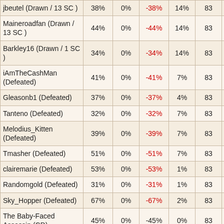| Player | Col1 | Col2 | Col3 | Col4 | Col5 | Col6 |
| --- | --- | --- | --- | --- | --- | --- |
| jbeutel (Drawn / 13 SC ) | 38% | 0% | -38% | 14% | 83 | -4.52 |
| Maineroadfan (Drawn / 13 SC ) | 44% | 0% | -44% | 14% | 83 | -5.27 |
| Barkley16 (Drawn / 1 SC ) | 34% | 0% | -34% | 14% | 83 | -3.98 |
| iAmTheCashMan (Defeated) | 41% | 0% | -41% | 7% | 83 | -2.28 |
| Gleasonb1 (Defeated) | 37% | 0% | -37% | 4% | 83 | -1.11 |
| Tanteno (Defeated) | 32% | 0% | -32% | 7% | 83 | -1.79 |
| Melodius_Kitten (Defeated) | 39% | 0% | -39% | 7% | 83 | -2.13 |
| Tmasher (Defeated) | 51% | 0% | -51% | 7% | 83 | -2.85 |
| clairemarie (Defeated) | 53% | 0% | -53% | 1% | 83 | -0.4 |
| Randomgold (Defeated) | 31% | 0% | -31% | 1% | 83 | -0.24 |
| Sky_Hopper (Defeated) | 67% | 0% | -67% | 2% | 83 | -1.02 |
| The Baby-Faced Assassin (CD) | 45% | 0% | -45% | 0% | 83 | 0 |
| (CD) | 46% | 0% | -46% | 0% | 83 | 0 |